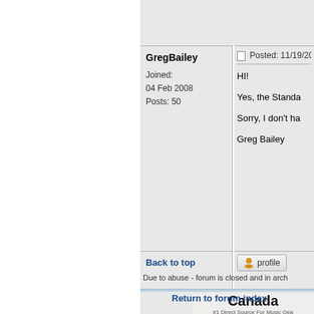GregBailey
Joined: 04 Feb 2008
Posts: 50
Posted: 11/19/20...
HI!
Yes, the Standa...
Sorry, I don't ha...
Greg Bailey
Back to top
[Figure (screenshot): Profile button with user icon]
[Figure (illustration): Canada #1 Direct Source For Music Gear banner with WE SHIP INT... text on dark blue background]
Due to abuse - forum is closed and in arch...
Return to forum index